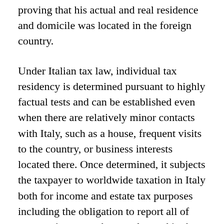proving that his actual and real residence and domicile was located in the foreign country.
Under Italian tax law, individual tax residency is determined pursuant to highly factual tests and can be established even when there are relatively minor contacts with Italy, such as a house, frequent visits to the country, or business interests located there. Once determined, it subjects the taxpayer to worldwide taxation in Italy both for income and estate tax purposes including the obligation to report all of taxpayer's assets wherever located in the world under a form that is the equivalent of the american foreign bank account report, except that it requires reporting of non financial assets (such as cars, houses, planes, artworks, etc.) as well as financial assets and accounts. Foreign persons with